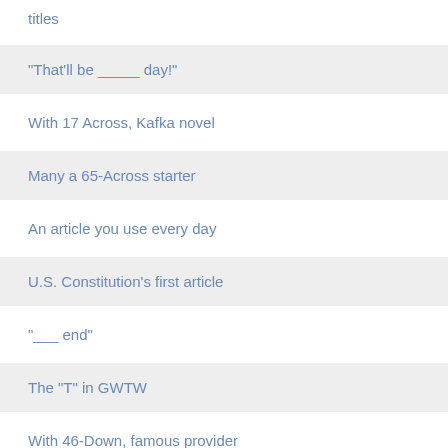titles
"That'll be _____ day!"
With 17 Across, Kafka novel
Many a 65-Across starter
An article you use every day
U.S. Constitution's first article
"___ end"
The "T" in GWTW
With 46-Down, famous provider of hospitality
Overused article